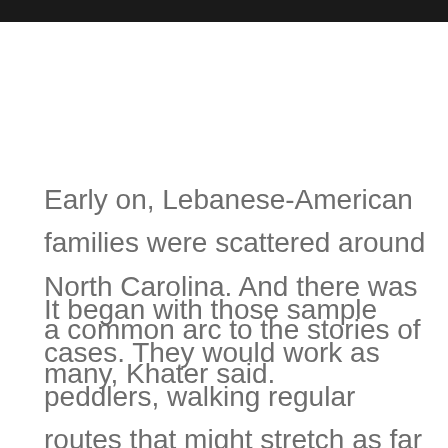Early on, Lebanese-American families were scattered around North Carolina. And there was a common arc to the stories of many, Khater said.
It began with those sample cases. They would work as peddlers, walking regular routes that might stretch as far as 50 miles, selling household items, in particular things that